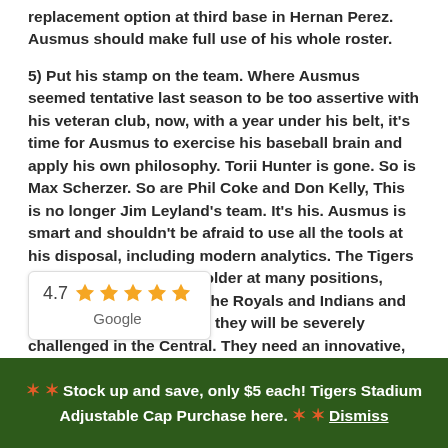replacement option at third base in Hernan Perez. Ausmus should make full use of his whole roster.
5) Put his stamp on the team. Where Ausmus seemed tentative last season to be too assertive with his veteran club, now, with a year under his belt, it's time for Ausmus to exercise his baseball brain and apply his own philosophy. Torii Hunter is gone. So is Max Scherzer. So are Phil Coke and Don Kelly, This is no longer Jim Leyland's team. It's his. Ausmus is smart and shouldn't be afraid to use all the tools at his disposal, including modern analytics. The Tigers are changing—growing older at many positions, younger at others. With the Royals and Indians and the resurgent White Sox, they will be severely challenged in the Central. They need an innovative, forward-thinking manager to firmly take the reins—and try a new approach.
[Figure (other): Google rating widget showing 4.7 stars out of 5 with orange stars and the Google logo]
❊ ❊ Stock up and save, only $5 each! Tigers Stadium Adjustable Cap Purchase here. ❊ ❊ Dismiss